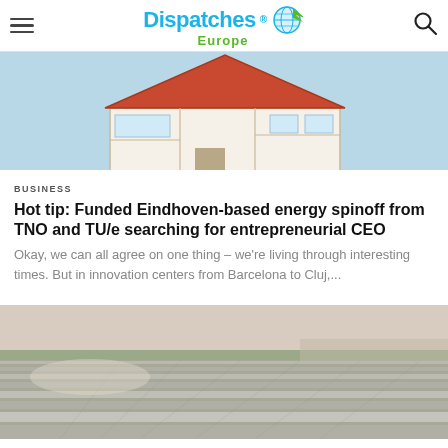Dispatches Europe
[Figure (photo): Cross-section model of a house showing interior rooms, with a red roof, on a light blue background]
BUSINESS
Hot tip: Funded Eindhoven-based energy spinoff from TNO and TU/e searching for entrepreneurial CEO
Okay, we can all agree on one thing – we're living through interesting times. But in innovation centers from Barcelona to Cluj,...
[Figure (photo): Aerial view of a large warehouse or industrial building roof covered with solar panels, with surrounding landscape visible]
×